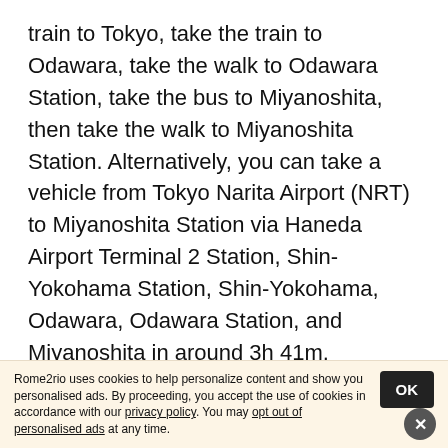train to Tokyo, take the train to Odawara, take the walk to Odawara Station, take the bus to Miyanoshita, then take the walk to Miyanoshita Station. Alternatively, you can take a vehicle from Tokyo Narita Airport (NRT) to Miyanoshita Station via Haneda Airport Terminal 2 Station, Shin-Yokohama Station, Shin-Yokohama, Odawara, Odawara Station, and Miyanoshita in around 3h 41m.
TRAIN OPERATORS
Narita Express (N'EX)
Japan Railways Shinkansen
Rome2rio uses cookies to help personalize content and show you personalised ads. By proceeding, you accept the use of cookies in accordance with our privacy policy. You may opt out of personalised ads at any time.